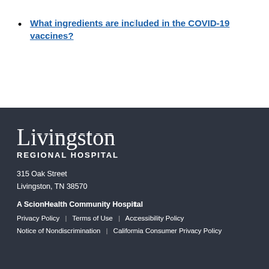What ingredients are included in the COVID-19 vaccines?
Livingston REGIONAL HOSPITAL
315 Oak Street
Livingston, TN 38570
A ScionHealth Community Hospital
Privacy Policy | Terms of Use | Accessibility Policy
Notice of Nondiscrimination | California Consumer Privacy Policy